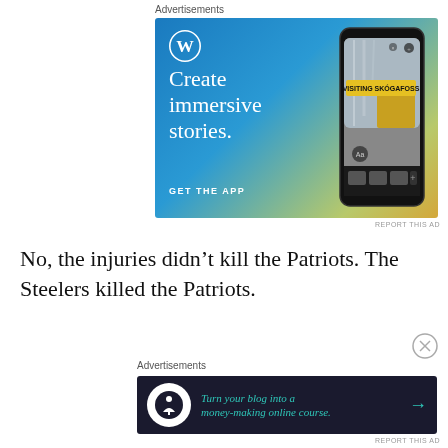Advertisements
[Figure (illustration): WordPress ad: blue-to-yellow gradient background with WordPress logo (W in circle), text 'Create immersive stories.' and 'GET THE APP', plus a phone mockup showing a story titled 'VISITING SKÓGAFOSS' with a waterfall/person image]
REPORT THIS AD
No, the injuries didn’t kill the Patriots. The Steelers killed the Patriots.
Advertisements
[Figure (illustration): Dark navy ad: circular icon with figure/tree symbol, teal italic text 'Turn your blog into a money-making online course.' with teal arrow on the right]